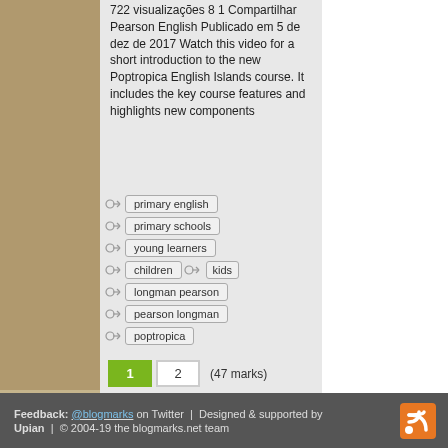722 visualizações 8 1 Compartilhar Pearson English Publicado em 5 de dez de 2017 Watch this video for a short introduction to the new Poptropica English Islands course. It includes the key course features and highlights new components
primary english
primary schools
young learners
children   kids
longman pearson
pearson longman
poptropica
1   2   (47 marks)
Feedback: @blogmarks on Twitter | Designed & supported by Upian | © 2004-19 the blogmarks.net team